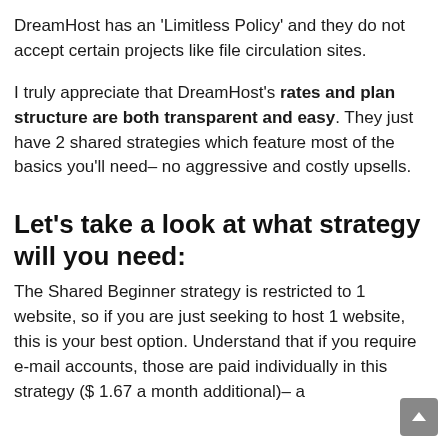DreamHost has an 'Limitless Policy' and they do not accept certain projects like file circulation sites.
I truly appreciate that DreamHost's rates and plan structure are both transparent and easy. They just have 2 shared strategies which feature most of the basics you'll need– no aggressive and costly upsells.
Let's take a look at what strategy will you need:
The Shared Beginner strategy is restricted to 1 website, so if you are just seeking to host 1 website, this is your best option. Understand that if you require e-mail accounts, those are paid individually in this strategy ($ 1.67 a month additional)– a